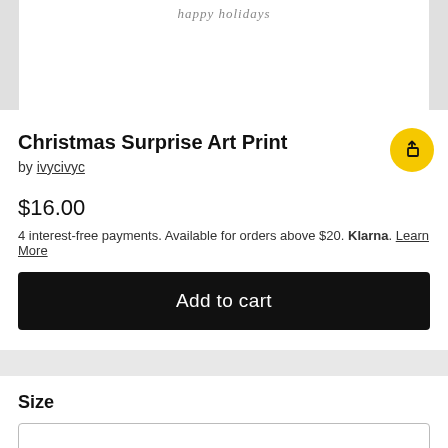[Figure (illustration): Partial product image of Christmas Surprise Art Print showing white background with faint script text at top]
Christmas Surprise Art Print
by ivycivyc
$16.00
4 interest-free payments. Available for orders above $20. Klarna. Learn More
Add to cart
Size